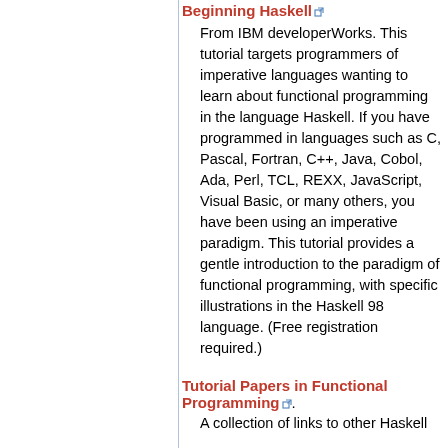Beginning Haskell
From IBM developerWorks. This tutorial targets programmers of imperative languages wanting to learn about functional programming in the language Haskell. If you have programmed in languages such as C, Pascal, Fortran, C++, Java, Cobol, Ada, Perl, TCL, REXX, JavaScript, Visual Basic, or many others, you have been using an imperative paradigm. This tutorial provides a gentle introduction to the paradigm of functional programming, with specific illustrations in the Haskell 98 language. (Free registration required.)
Tutorial Papers in Functional Programming.
A collection of links to other Haskell